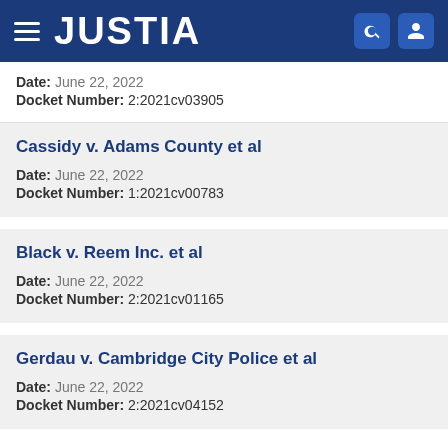JUSTIA
Date: June 22, 2022
Docket Number: 2:2021cv03905
Cassidy v. Adams County et al
Date: June 22, 2022
Docket Number: 1:2021cv00783
Black v. Reem Inc. et al
Date: June 22, 2022
Docket Number: 2:2021cv01165
Gerdau v. Cambridge City Police et al
Date: June 22, 2022
Docket Number: 2:2021cv04152